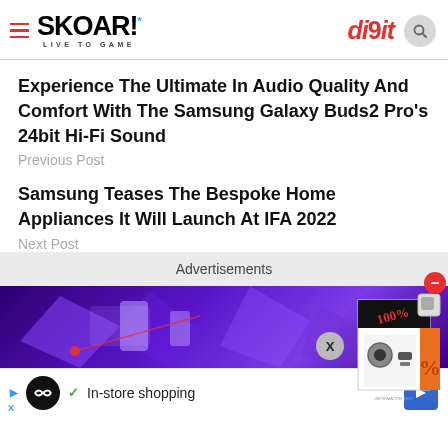SKOAR! LIVE TO GAME | digit
Experience The Ultimate In Audio Quality And Comfort With The Samsung Galaxy Buds2 Pro's 24bit Hi-Fi Sound
Previous Post
Samsung Teases The Bespoke Home Appliances It Will Launch At IFA 2022
Next Post
Advertisements
[Figure (photo): Purple/violet geometric tech-themed advertisement banner image]
[Figure (infographic): Floating box product advertisement with red minus button]
In-store shopping